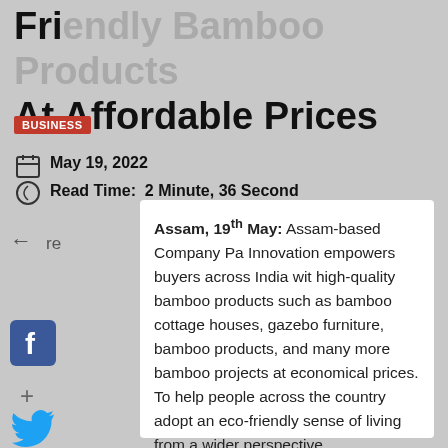Friendly Bamboo Products At Affordable Prices
BUSINESS
May 19, 2022
Read Time:  2 Minute, 36 Second
Assam, 19th May: Assam-based Company Pa Innovation empowers buyers across India wit high-quality bamboo products such as bamboo cottage houses, gazebo furniture, bamboo products, and many more bamboo projects at economical prices. To help people across the country adopt an eco-friendly sense of living from a wider perspective.